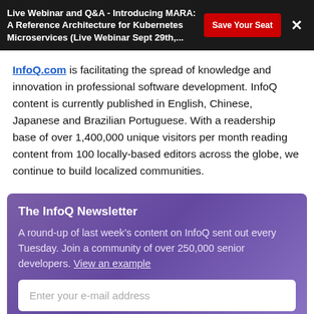Live Webinar and Q&A - Introducing MARA: A Reference Architecture for Kubernetes Microservices (Live Webinar Sept 29th,...
InfoQ.com is facilitating the spread of knowledge and innovation in professional software development. InfoQ content is currently published in English, Chinese, Japanese and Brazilian Portuguese. With a readership base of over 1,400,000 unique visitors per month reading content from 100 locally-based editors across the globe, we continue to build localized communities.
The InfoQ Newsletter
A round-up of last week's content on InfoQ sent out every Tuesday. Join a community of over 250,000 senior developers. View an example
Enter your e-mail address